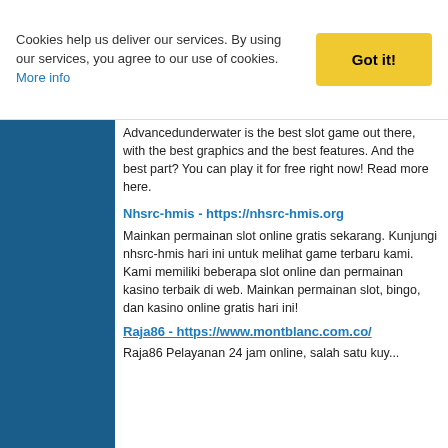Cookies help us deliver our services. By using our services, you agree to our use of cookies. More info
Got it!
Advancedunderwater is the best slot game out there, with the best graphics and the best features. And the best part? You can play it for free right now! Read more here.
Nhsrc-hmis - https://nhsrc-hmis.org
Mainkan permainan slot online gratis sekarang. Kunjungi nhsrc-hmis hari ini untuk melihat game terbaru kami. Kami memiliki beberapa slot online dan permainan kasino terbaik di web. Mainkan permainan slot, bingo, dan kasino online gratis hari ini!
Raja86 - https://www.montblanc.com.co/
Raja86 Pelayanan 24 jam online, salah satu layar...